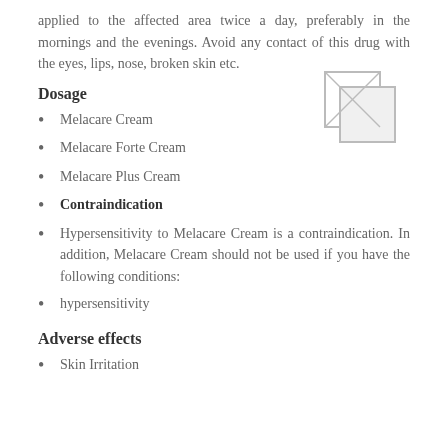applied to the affected area twice a day, preferably in the mornings and the evenings. Avoid any contact of this drug with the eyes, lips, nose, broken skin etc.
Dosage
[Figure (illustration): Placeholder image with overlapping rectangle outlines]
Melacare Cream
Melacare Forte Cream
Melacare Plus Cream
Contraindication
Hypersensitivity to Melacare Cream is a contraindication. In addition, Melacare Cream should not be used if you have the following conditions:
hypersensitivity
Adverse effects
Skin Irritation